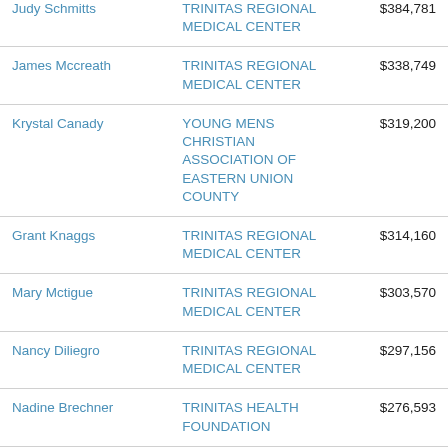| Judy Schmitts (partial) | TRINITAS REGIONAL MEDICAL CENTER | $384,781 (partial) |
| James Mccreath | TRINITAS REGIONAL MEDICAL CENTER | $338,749 |
| Krystal Canady | YOUNG MENS CHRISTIAN ASSOCIATION OF EASTERN UNION COUNTY | $319,200 |
| Grant Knaggs | TRINITAS REGIONAL MEDICAL CENTER | $314,160 |
| Mary Mctigue | TRINITAS REGIONAL MEDICAL CENTER | $303,570 |
| Nancy Diliegro | TRINITAS REGIONAL MEDICAL CENTER | $297,156 |
| Nadine Brechner | TRINITAS HEALTH FOUNDATION | $276,593 |
| Douglas Harris | TRINITAS REGIONAL MEDICAL CENTER | $266,801 |